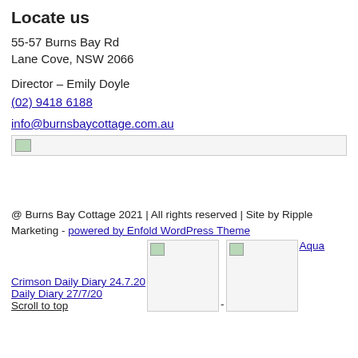Locate us
55-57 Burns Bay Rd
Lane Cove, NSW 2066
Director – Emily Doyle
(02) 9418 6188
info@burnsbaycottage.com.au
[Figure (other): Map image placeholder with broken image icon]
@ Burns Bay Cottage 2021 | All rights reserved | Site by Ripple Marketing - powered by Enfold WordPress Theme
[Figure (photo): First image placeholder with broken image icon]
[Figure (photo): Second image placeholder with broken image icon]
Crimson Daily Diary 24.7.20
- Aqua Daily Diary 27/7/20
Scroll to top